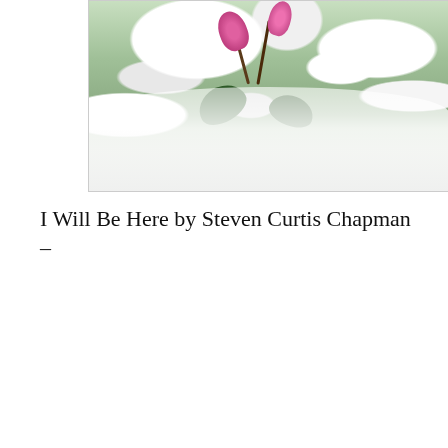[Figure (photo): Close-up photo of pink cyclamen flowers with curling stems emerging from snow-covered green leaves]
I Will Be Here by Steven Curtis Chapman –
[Figure (screenshot): YouTube video embed showing 'I Will Be Here - steven curtis chap...' with a sunset/beach background showing lyrics 'As sure as seasons are made for change, Our lifetimes are made for years' and two silhouetted figures on a beach, with a play button in the center]